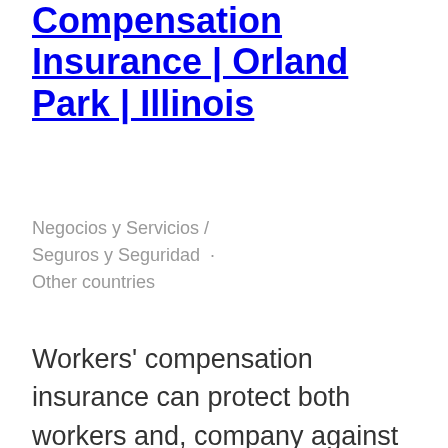Compensation Insurance | Orland Park | Illinois
Negocios y Servicios / Seguros y Seguridad · Other countries
Workers' compensation insurance can protect both workers and, company against work-related injuries, diseases, and more. Abe GT & Associate can help you select the best workers compensation insurance in Orland Park, IL from the leading insurance firms